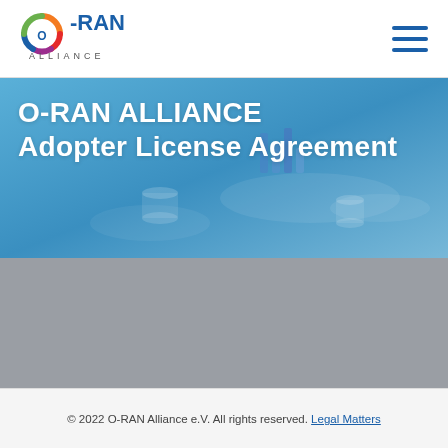[Figure (logo): O-RAN Alliance logo — multicolor circle with O-RAN text and ALLIANCE lettering below]
[Figure (illustration): Three horizontal lines hamburger menu icon in dark blue]
O-RAN ALLIANCE Adopter License Agreement
[Figure (screenshot): Button reading 'Apply for membership' with rounded rectangle border on grey background]
© 2022 O-RAN Alliance e.V. All rights reserved. Legal Matters